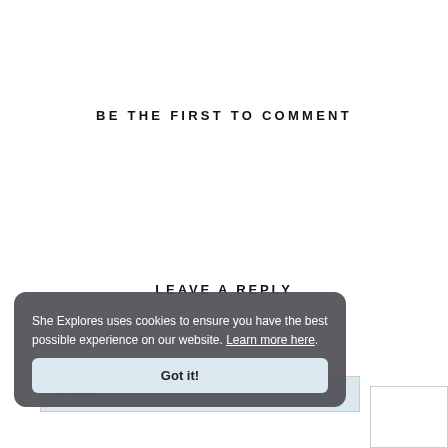BE THE FIRST TO COMMENT
LEAVE A REPLY
Your email address will not be published.
Required fields are marked *
Comment *
She Explores uses cookies to ensure you have the best possible experience on our website. Learn more here.
Got it!